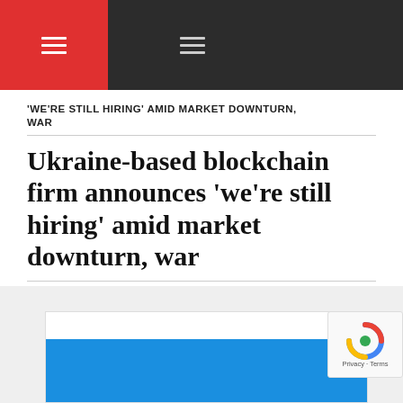'WE'RE STILL HIRING' AMID MARKET DOWNTURN, WAR
Ukraine-based blockchain firm announces 'we're still hiring' amid market downturn, war
Published on June 15, 2022 by Turner Wright
[Figure (photo): Blue image box at bottom of page, partially visible]